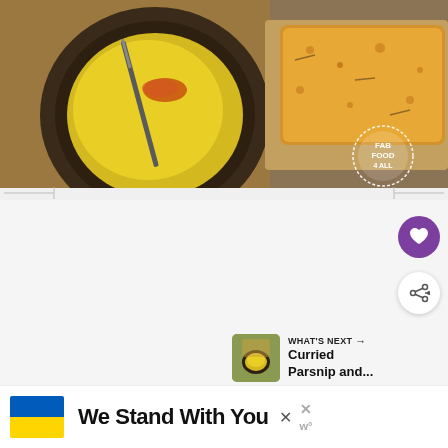[Figure (photo): Overhead view of a yellow curried soup in a dark ceramic bowl with red chili flakes and a knife, alongside a piece of golden focaccia bread on a wooden board. A 'FAB FOOD 4 ALL' logo badge appears in the bottom right of the image.]
[Figure (screenshot): Heart/like button (purple circle with white heart icon) and share button (white circle with share icon), plus a 'WHAT'S NEXT' suggestion panel showing a thumbnail and text 'Curried Parsnip and...']
WHAT'S NEXT → Curried Parsnip and...
[Figure (infographic): Advertisement banner with Ukrainian flag (blue and yellow), bold text 'We Stand With You', close X button, and a 'w°' logo]